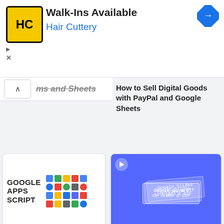[Figure (screenshot): Hair Cuttery advertisement banner with logo, Walk-Ins Available text, and navigation icon]
ms and Sheets
How to Sell Digital Goods with PayPal and Google Sheets
[Figure (screenshot): Google Apps Script thumbnail showing title and Google app icons]
[Figure (screenshot): Blue thumbnail showing Google Slides to Video & GIF]
Google Apps Script - A Developer's Guide
Convert Google Slides to Video and Animated GIFs
[Figure (screenshot): Blue thumbnail for Gmail Mail Merge with ctrlq.org branding]
[Figure (screenshot): Purple thumbnail showing Receive Files in Your Google Drive]